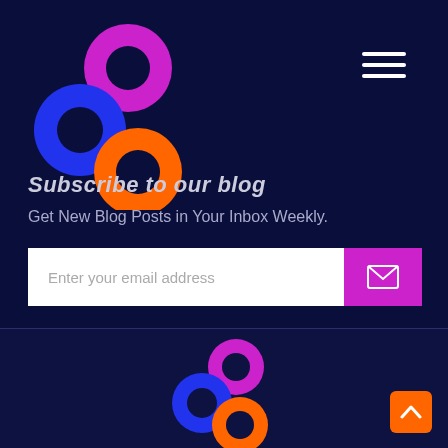[Figure (logo): Three overlapping circles logo: blue circle left, magenta/pink circle top-right, orange circle bottom-center, each with dark inner circle — top-left of page]
[Figure (other): Hamburger menu icon (three white horizontal lines) in top-right corner]
Subscribe to our blog
Get New Blog Posts in Your Inbox Weekly.
[Figure (other): Email subscription form: white input field with placeholder 'Enter your email address' and purple submit button with envelope icon]
[Figure (logo): Smaller version of three overlapping circles logo centered in bottom section]
[Figure (other): Orange back-to-top button with upward chevron in bottom-right corner]